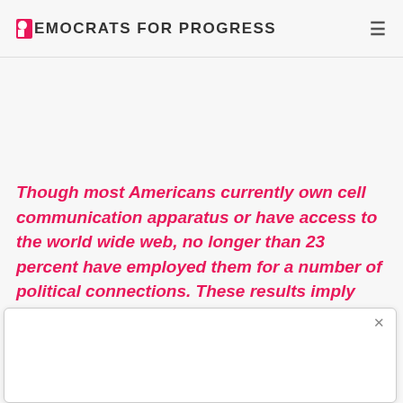Democrats for Progress
Though most Americans currently own cell communication apparatus or have access to the world wide web, no longer than 23 percent have employed them for a number of political connections. These results imply that the possible usage of cellular